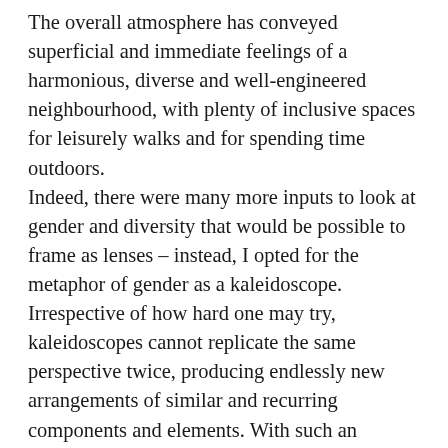The overall atmosphere has conveyed superficial and immediate feelings of a harmonious, diverse and well-engineered neighbourhood, with plenty of inclusive spaces for leisurely walks and for spending time outdoors. Indeed, there were many more inputs to look at gender and diversity that would be possible to frame as lenses – instead, I opted for the metaphor of gender as a kaleidoscope. Irrespective of how hard one may try, kaleidoscopes cannot replicate the same perspective twice, producing endlessly new arrangements of similar and recurring components and elements. With such an overwhelmingly rich spectrum of possibility to talk about gender and diversity, I started questioning what would be feasible to focus on.